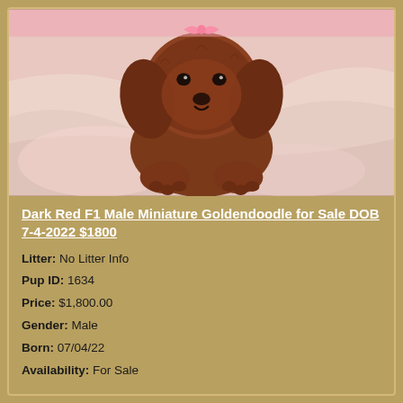[Figure (photo): A dark red/auburn puppy (Miniature Goldendoodle) lying on a pink and white blanket, wearing a small pink bow on its head.]
Dark Red F1 Male Miniature Goldendoodle for Sale DOB 7-4-2022 $1800
Litter: No Litter Info
Pup ID: 1634
Price: $1,800.00
Gender: Male
Born: 07/04/22
Availability: For Sale